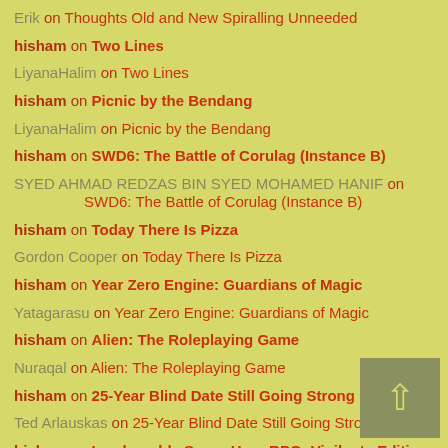Erik on Thoughts Old and New Spiralling Unneeded
hisham on Two Lines
LiyanaHalim on Two Lines
hisham on Picnic by the Bendang
LiyanaHalim on Picnic by the Bendang
hisham on SWD6: The Battle of Corulag (Instance B)
SYED AHMAD REDZAS BIN SYED MOHAMED HANIF on SWD6: The Battle of Corulag (Instance B)
hisham on Today There Is Pizza
Gordon Cooper on Today There Is Pizza
hisham on Year Zero Engine: Guardians of Magic
Yatagarasu on Year Zero Engine: Guardians of Magic
hisham on Alien: The Roleplaying Game
Nuraqal on Alien: The Roleplaying Game
hisham on 25-Year Blind Date Still Going Strong
Ted Arlauskas on 25-Year Blind Date Still Going Strong
hisham on Invulnerable Super Hero RPG: Vigilante Edition
Guy Larke on Invulnerable Super Hero RPG: Vigilante Edition